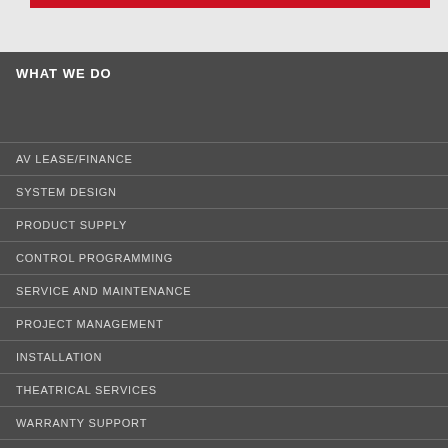WHAT WE DO
AV LEASE/FINANCE
SYSTEM DESIGN
PRODUCT SUPPLY
CONTROL PROGRAMMING
SERVICE AND MAINTENANCE
PROJECT MANAGEMENT
INSTALLATION
THEATRICAL SERVICES
WARRANTY SUPPORT